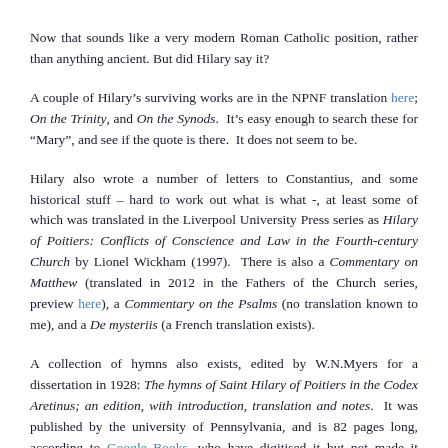Now that sounds like a very modern Roman Catholic position, rather than anything ancient. But did Hilary say it?
A couple of Hilary’s surviving works are in the NPNF translation here; On the Trinity, and On the Synods. It’s easy enough to search these for “Mary”, and see if the quote is there. It does not seem to be.
Hilary also wrote a number of letters to Constantius, and some historical stuff – hard to work out what is what -, at least some of which was translated in the Liverpool University Press series as Hilary of Poitiers: Conflicts of Conscience and Law in the Fourth-century Church by Lionel Wickham (1997). There is also a Commentary on Matthew (translated in 2012 in the Fathers of the Church series, preview here), a Commentary on the Psalms (no translation known to me), and a De mysteriis (a French translation exists).
A collection of hymns also exists, edited by W.N.Myers for a dissertation in 1928: The hymns of Saint Hilary of Poitiers in the Codex Aretinus; an edition, with introduction, translation and notes. It was published by the university of Pennsylvania, and is 82 pages long, according to Google Books, who have digitised it but not made it available.
Unfortunately I don’t have access to all these, so I can’t check more than the